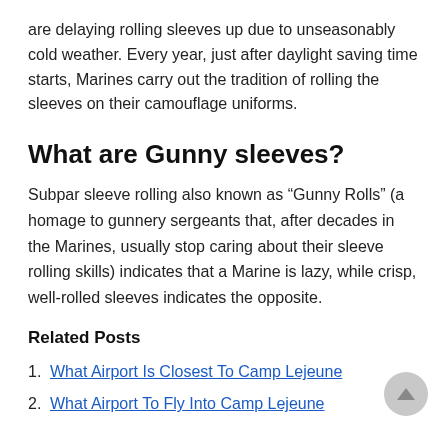are delaying rolling sleeves up due to unseasonably cold weather. Every year, just after daylight saving time starts, Marines carry out the tradition of rolling the sleeves on their camouflage uniforms.
What are Gunny sleeves?
Subpar sleeve rolling also known as “Gunny Rolls” (a homage to gunnery sergeants that, after decades in the Marines, usually stop caring about their sleeve rolling skills) indicates that a Marine is lazy, while crisp, well-rolled sleeves indicates the opposite.
Related Posts
1. What Airport Is Closest To Camp Lejeune
2. What Airport To Fly Into Camp Lejeune